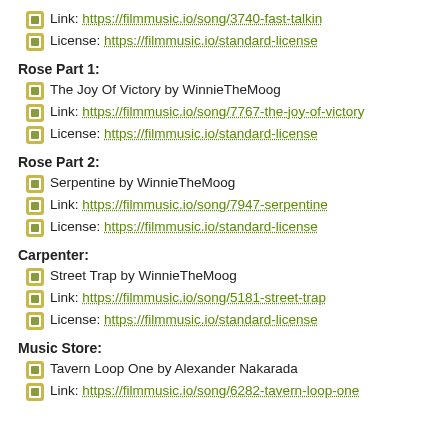Link: https://filmmusic.io/song/3740-fast-talkin
License: https://filmmusic.io/standard-license
Rose Part 1:
The Joy Of Victory by WinnieTheMoog
Link: https://filmmusic.io/song/7767-the-joy-of-victory
License: https://filmmusic.io/standard-license
Rose Part 2:
Serpentine by WinnieTheMoog
Link: https://filmmusic.io/song/7947-serpentine
License: https://filmmusic.io/standard-license
Carpenter:
Street Trap by WinnieTheMoog
Link: https://filmmusic.io/song/5181-street-trap
License: https://filmmusic.io/standard-license
Music Store:
Tavern Loop One by Alexander Nakarada
Link: https://filmmusic.io/song/6282-tavern-loop-one